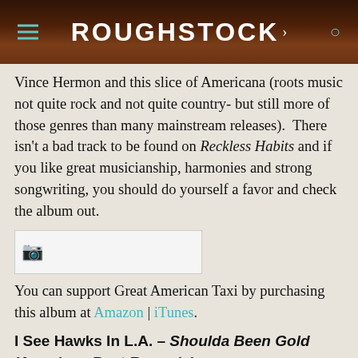ROUGHSTOCK
Vince Hermon and this slice of Americana (roots music not quite rock and not quite country- but still more of those genres than many mainstream releases).  There isn't a bad track to be found on Reckless Habits and if you like great musicianship, harmonies and strong songwriting, you should do yourself a favor and check the album out.
[Figure (other): Broken/missing image placeholder]
You can support Great American Taxi by purchasing this album at Amazon | iTunes.
I See Hawks In L.A. – Shoulda Been Gold (American Beat Records)
Fans of roots music and Americana should find something to